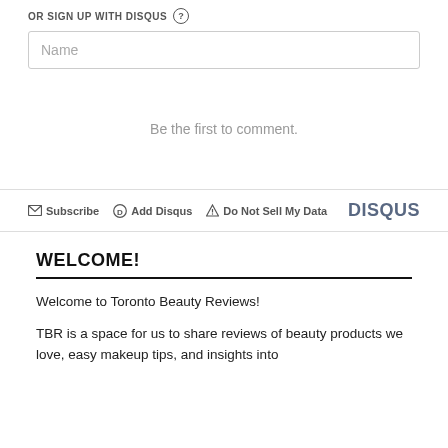OR SIGN UP WITH DISQUS ?
Name
Be the first to comment.
Subscribe  Add Disqus  Do Not Sell My Data  DISQUS
WELCOME!
Welcome to Toronto Beauty Reviews!
TBR is a space for us to share reviews of beauty products we love, easy makeup tips, and insights into